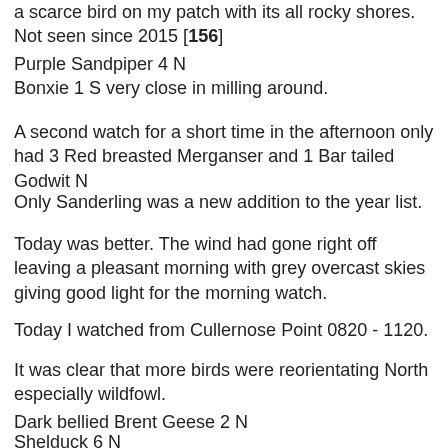a scarce bird on my patch with its all rocky shores. Not seen since 2015 [156]
Purple Sandpiper 4 N
Bonxie 1 S very close in milling around.
A second watch for a short time in the afternoon only had 3 Red breasted Merganser and 1 Bar tailed Godwit N
Only Sanderling was a new addition to the year list.
Today was better. The wind had gone right off leaving a pleasant morning with grey overcast skies giving good light for the morning watch.
Today I watched from Cullernose Point 0820 - 1120.
It was clear that more birds were reorientating North especially wildfowl.
Dark bellied Brent Geese 2 N
Shelduck 6 N
Wigeon 258 N
Teal 37 N